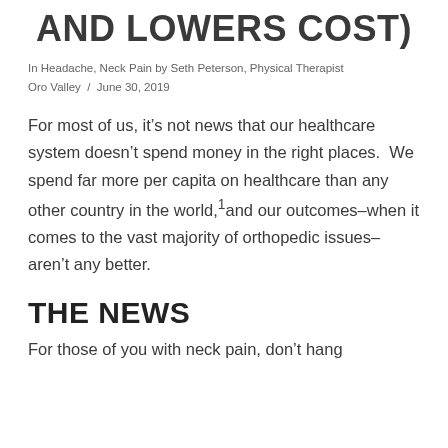AND LOWERS COST)
In Headache, Neck Pain by Seth Peterson, Physical Therapist Oro Valley / June 30, 2019
For most of us, it’s not news that our healthcare system doesn’t spend money in the right places. We spend far more per capita on healthcare than any other country in the world,¹and our outcomes–when it comes to the vast majority of orthopedic issues– aren’t any better.
THE NEWS
For those of you with neck pain, don’t hang